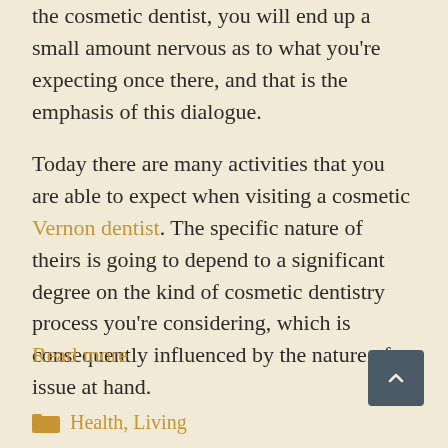the cosmetic dentist, you will end up a small amount nervous as to what you're expecting once there, and that is the emphasis of this dialogue.
Today there are many activities that you are able to expect when visiting a cosmetic Vernon dentist. The specific nature of theirs is going to depend to a significant degree on the kind of cosmetic dentistry process you're considering, which is consequently influenced by the nature of issue at hand.
Read more
Health, Living